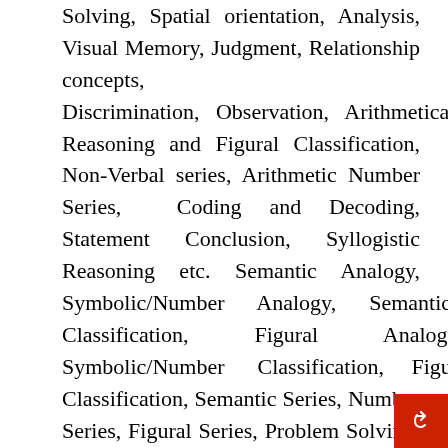Solving, Spatial orientation, Analysis, Visual Memory, Judgment, Relationship concepts, Discrimination, Observation, Arithmetical Reasoning and Figural Classification, Non-Verbal series, Arithmetic Number Series, Coding and Decoding, Statement Conclusion, Syllogistic Reasoning etc. Semantic Analogy, Symbolic/Number Analogy, Semantic Classification, Figural Analogy, Symbolic/Number Classification, Figural Classification, Semantic Series, Number Series, Figural Series, Problem Solving, Coding & decoding, Word Building, Venn Diagrams, Numerical Operations, Space Orientation, Trends, Space Visualization, Drawing inferences, Punched hole/Pattern –folding & un-folding, Figural Pattern – folding an